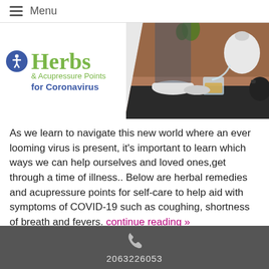Menu
[Figure (illustration): Banner with logo showing accessibility icon and herbs & acupressure points for coronavirus text on left, tea pouring photo on right]
As we learn to navigate this new world where an ever looming virus is present, it's important to learn which ways we can help ourselves and loved ones,get through a time of illness.. Below are herbal remedies and acupressure points for self-care to help aid with symptoms of COVID-19 such as coughing, shortness of breath and fevers. continue reading »
2063226053